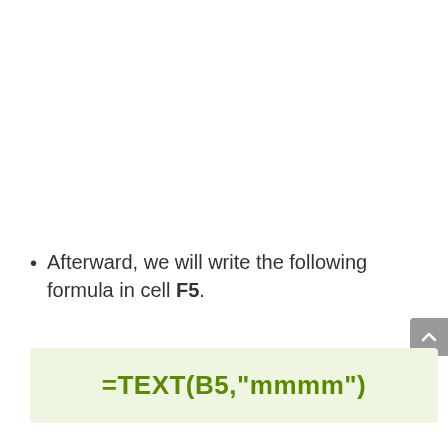Afterward, we will write the following formula in cell F5.